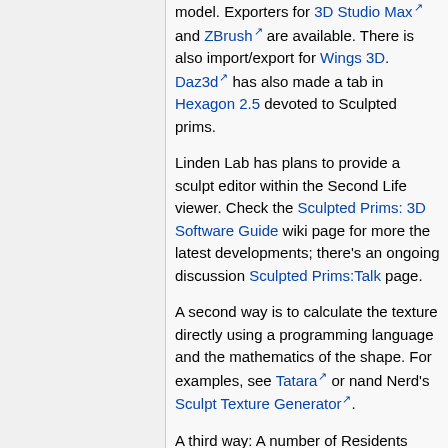model. Exporters for 3D Studio Max and ZBrush are available. There is also import/export for Wings 3D. Daz3d has also made a tab in Hexagon 2.5 devoted to Sculpted prims.
Linden Lab has plans to provide a sculpt editor within the Second Life viewer. Check the Sculpted Prims: 3D Software Guide wiki page for more the latest developments; there's an ongoing discussion Sculpted Prims:Talk page.
A second way is to calculate the texture directly using a programming language and the mathematics of the shape. For examples, see Tatara or nand Nerd's Sculpt Texture Generator.
A third way: A number of Residents have created in-world tools with LSL and web code - you can select a number of parameters or edit a array of normal